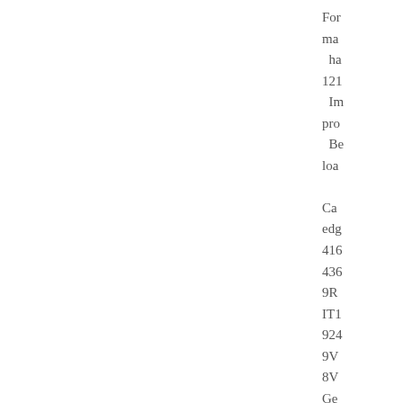For ma ha 121 Im pro Be loa Ca edg 416 436 9R IT1 924 9V 8V Ge